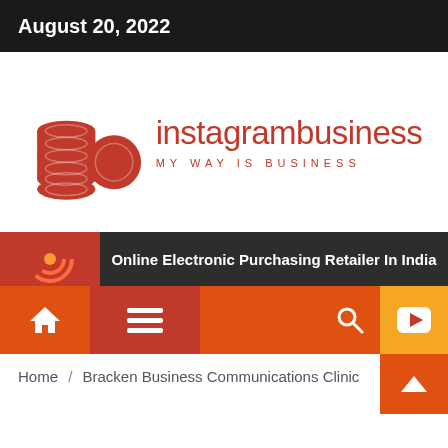August 20, 2022
[Figure (logo): instagrambusiness logo with stacked coin icons in red and text 'instagrambusiness / MY WAY IS BUSINESS']
Online Electronic Purchasing Retailer In India
Home / Bracken Business Communications Clinic